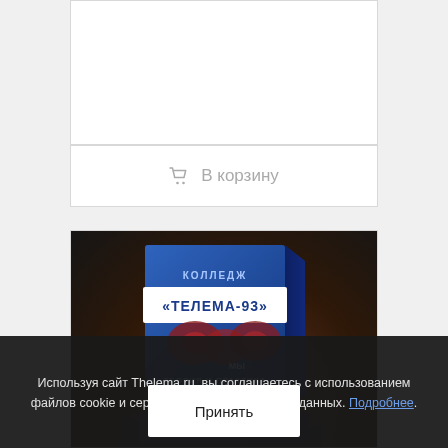[Figure (screenshot): Top white card area with empty content]
🛒 В корзину
[Figure (photo): Product box image for college Telema-93 course, dark background with book box showing Russian text КОЛЛЕДЖ «ТЕЛЕМА-93»]
Используя сайт Thelema.ru, вы соглашаетесь с использованием файлов cookie и сервисов сбора технических данных. Подробнее.
Принять